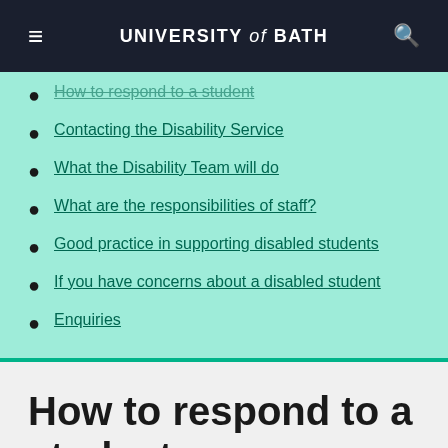UNIVERSITY of BATH
How to respond to a student
Contacting the Disability Service
What the Disability Team will do
What are the responsibilities of staff?
Good practice in supporting disabled students
If you have concerns about a disabled student
Enquiries
How to respond to a student